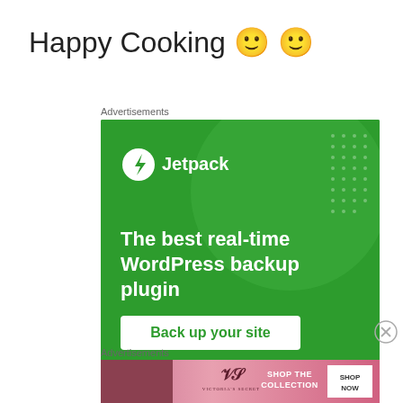Happy Cooking 🙂 🙂
Advertisements
[Figure (screenshot): Jetpack advertisement banner: green background with large circle graphic, Jetpack logo (lightning bolt in circle) and text 'The best real-time WordPress backup plugin' with a white 'Back up your site' button]
[Figure (other): Close/dismiss button (circled X)]
Advertisements
[Figure (screenshot): Victoria's Secret advertisement banner with pink background, woman photo on left, Victoria's Secret logo, 'SHOP THE COLLECTION' text and 'SHOP NOW' button]